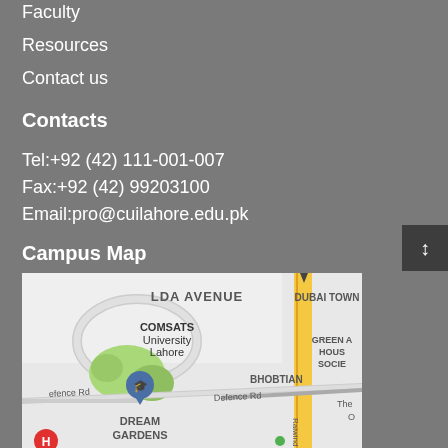Faculty
Resources
Contact us
Contacts
Tel:+92 (42) 111-001-007
Fax:+92 (42) 99203100
Email:pro@cuilahore.edu.pk
Campus Map
[Figure (map): Google Maps screenshot showing COMSATS University Lahore campus location, with LDA Avenue, Dubai Town, Green Avenue Housing Society, Bhobtian, Defence Rd, Dream Gardens, and Raiwind Road visible. A location pin marks the university.]